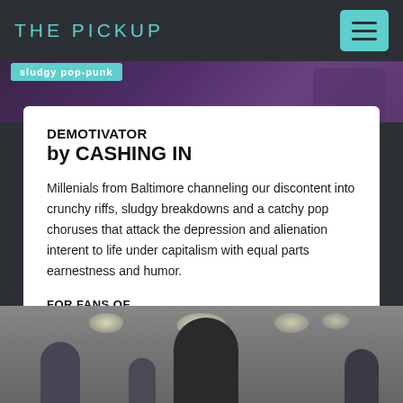THE PICKUP
[Figure (photo): Banner image showing a purple-lit concert/band scene with a teal tag reading 'sludgy pop-punk']
DEMOTIVATOR
by CASHING IN
Millenials from Baltimore channeling our discontent into crunchy riffs, sludgy breakdowns and a catchy pop choruses that attack the depression and alienation interent to life under capitalism with equal parts earnestness and humor.
FOR FANS OF
superchunk
Husker Du
diarrhea-planet
rozwell-kid
[Figure (photo): Photo of band members in a room with ceiling lights, person in foreground facing camera]